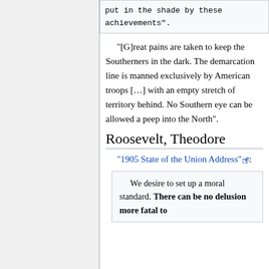put in the shade by these achievements".
"[G]reat pains are taken to keep the Southerners in the dark. The demarcation line is manned exclusively by American troops […] with an empty stretch of territory behind. No Southern eye can be allowed a peep into the North".
Roosevelt, Theodore
"1905 State of the Union Address":
We desire to set up a moral standard. There can be no delusion more fatal to the Nation than the…